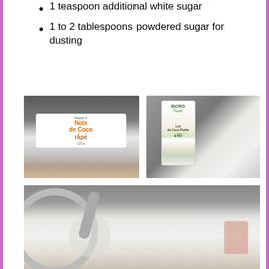1 teaspoon additional white sugar
1 to 2 tablespoons powdered sugar for dusting
[Figure (photo): A hand holding a bag of 'Noix de Coco râpé' (grated coconut) from Franprix brand, shown in a kitchen setting]
[Figure (photo): A hand holding a Bjorg brand 'Lait de Coco Fluide' BIO carton next to a metal bowl with white sugar and a spoon]
[Figure (photo): A metal bowl with white flour/powder, a measuring cup pouring liquid into it, with a hand visible at the side]